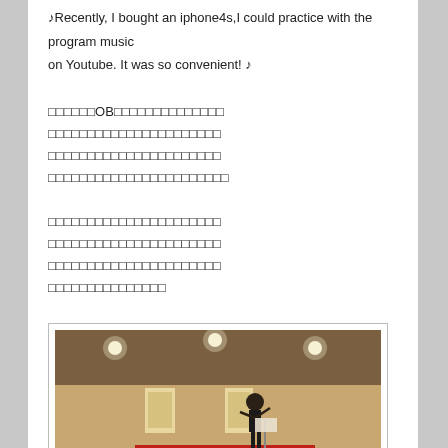♪Recently, I bought an iphone4s,I could practice with the program music on Youtube. It was so convenient! ♪
（Japanese text block 1: multiple lines of Japanese characters about OB）
（Japanese text block 2: multiple lines of Japanese characters）
[Figure (photo): Orchestra rehearsal scene inside a large hall. A conductor stands at the front facing musicians. Sheet music visible in the foreground. Red and white decorative fabric banners hang in the background. Overhead lights illuminate the space.]